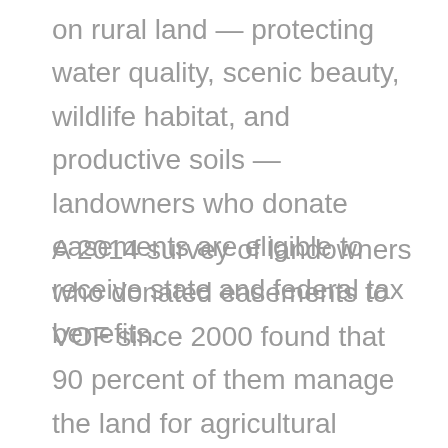on rural land — protecting water quality, scenic beauty, wildlife habitat, and productive soils — landowners who donate easements are eligible to receive state and federal tax benefits.
A 2014 survey of landowners who donated easements to VOF since 2000 found that 90 percent of them manage the land for agricultural production or forestry. Approximately 60 percent used the Virginia Land Preservation Tax